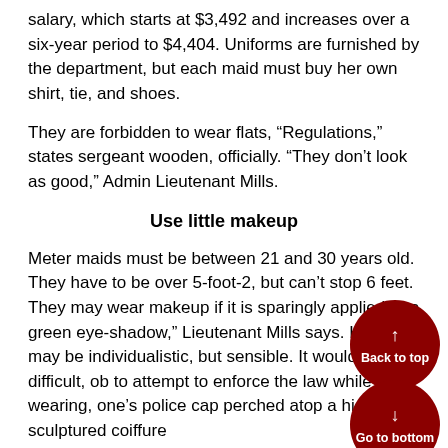salary, which starts at $3,492 and increases over a six-year period to $4,404. Uniforms are furnished by the department, but each maid must buy her own shirt, tie, and shoes.
They are forbidden to wear flats, “Regulations,” states sergeant wooden, officially. “They don’t look as good,” Admin Lieutenant Mills.
Use little makeup
Meter maids must be between 21 and 30 years old. They have to be over 5-foot-2, but can’t stop 6 feet. They may wear makeup if it is sparingly applied, “no green eye-shadow,” Lieutenant Mills says. Hairdos may be individualistic, but sensible. It would be difficult, ob… to attempt to enforce the law while wearing, one’s… police cap perched atop a high, sculptured coiffure…
Meter maids differ from regular police in that they we… uniforms (policewomen are always in plainclothes… carry weapons, and lack the powers of arrest. Th… from crossing guards, on the other hand, by being full-time employees of the police department and by being actual…